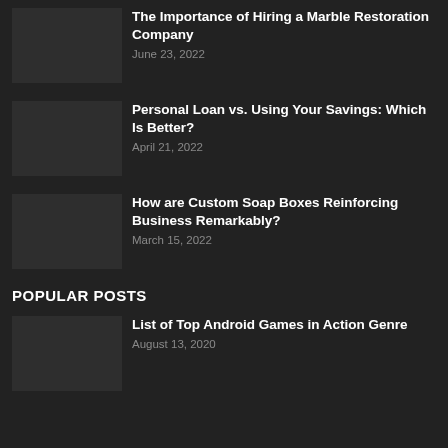The Importance of Hiring a Marble Restoration Company
June 23, 2022
Personal Loan vs. Using Your Savings: Which Is Better?
April 21, 2022
How are Custom Soap Boxes Reinforcing Business Remarkably?
March 15, 2022
POPULAR POSTS
List of Top Android Games in Action Genre
August 13, 2020